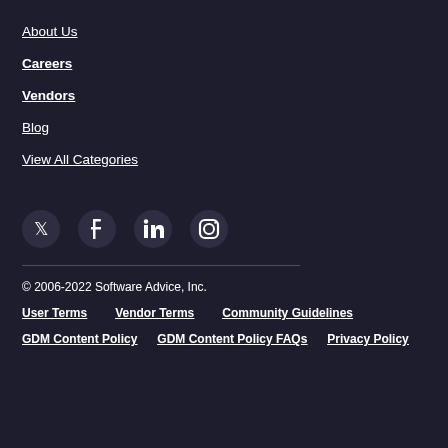About Us
Careers
Vendors
Blog
View All Categories
[Figure (illustration): Social media icons: Twitter, Facebook, LinkedIn, Instagram]
© 2006-2022 Software Advice, Inc.
User Terms   Vendor Terms   Community Guidelines
GDM Content Policy   GDM Content Policy FAQs   Privacy Policy